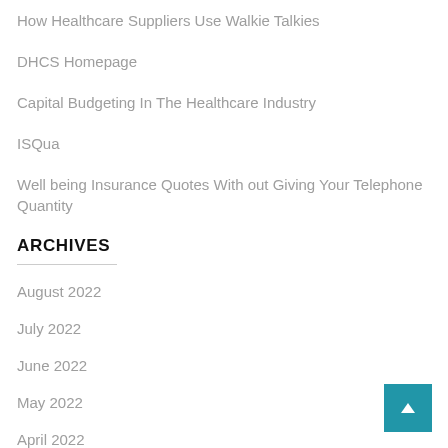How Healthcare Suppliers Use Walkie Talkies
DHCS Homepage
Capital Budgeting In The Healthcare Industry
ISQua
Well being Insurance Quotes With out Giving Your Telephone Quantity
ARCHIVES
August 2022
July 2022
June 2022
May 2022
April 2022
March 2022